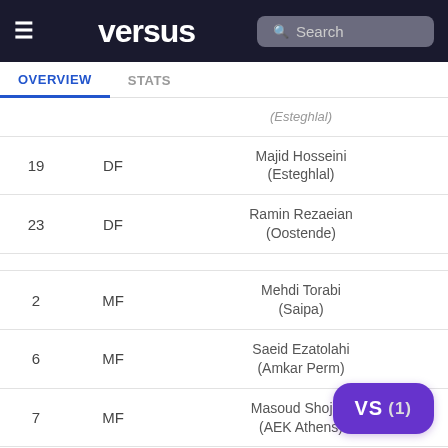versus | Search
OVERVIEW | STATS
| # | POS | Player |
| --- | --- | --- |
|  |  | (Esteghlal) |
| 19 | DF | Majid Hosseini (Esteghlal) |
| 23 | DF | Ramin Rezaeian (Oostende) |
|  |  |  |
| 2 | MF | Mehdi Torabi (Saipa) |
| 6 | MF | Saeid Ezatolahi (Amkar Perm) |
| 7 | MF | Masoud Shojaei (AEK Athens) |
| 9 | MF | Omid Ebrahimi (Esteghlal) |
| 11 | MF | Vahid Amiri (Persepolis) |
|  |  |  |
| 10 | FW | Karim Ansarifard (Olympiacos) |
| 14 | FW | Saman Ghoddos (Östersund) |